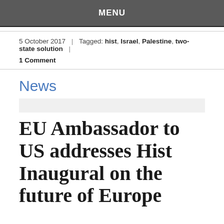MENU
5 October 2017  |  Tagged: hist, Israel, Palestine, two-state solution  |
1 Comment
News
EU Ambassador to US addresses Hist Inaugural on the future of Europe